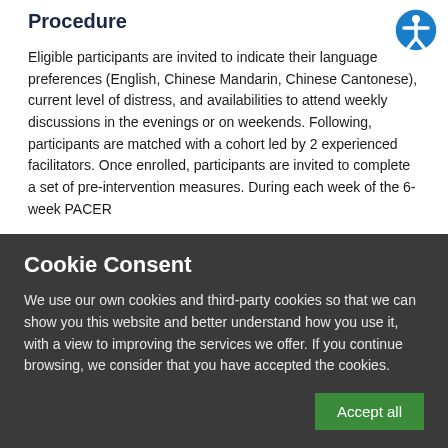Procedure
Eligible participants are invited to indicate their language preferences (English, Chinese Mandarin, Chinese Cantonese), current level of distress, and availabilities to attend weekly discussions in the evenings or on weekends. Following, participants are matched with a cohort led by 2 experienced facilitators. Once enrolled, participants are invited to complete a set of pre-intervention measures. During each week of the 6-week PACER
Cookie Consent
We use our own cookies and third-party cookies so that we can show you this website and better understand how you use it, with a view to improving the services we offer. If you continue browsing, we consider that you have accepted the cookies.
Accept all